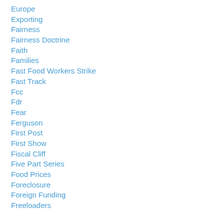Europe
Exporting
Fairness
Fairness Doctrine
Faith
Families
Fast Food Workers Strike
Fast Track
Fcc
Fdr
Fear
Ferguson
First Post
First Show
Fiscal Cliff
Five Part Series
Food Prices
Foreclosure
Foreign Funding
Freeloaders